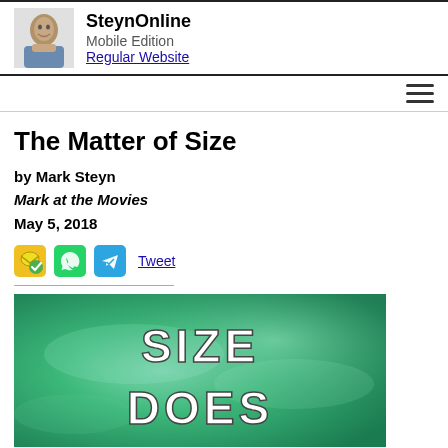SteynOnline Mobile Edition Regular Website
Tweet
The Matter of Size
by Mark Steyn
Mark at the Movies
May 5, 2018
[Figure (photo): Movie promotional image showing text 'SIZE DOES' on a green background]